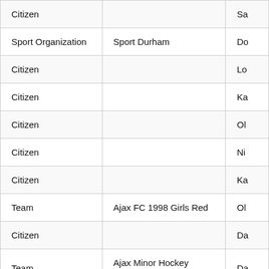| Citizen |  | Sa |
| Sport Organization | Sport Durham | Do |
| Citizen |  | Lo |
| Citizen |  | Ka |
| Citizen |  | Ol |
| Citizen |  | Ni |
| Citizen |  | Ka |
| Team | Ajax FC 1998 Girls Red | Ol |
| Citizen |  | Da |
| Team | Ajax Minor Hockey Association | Da |